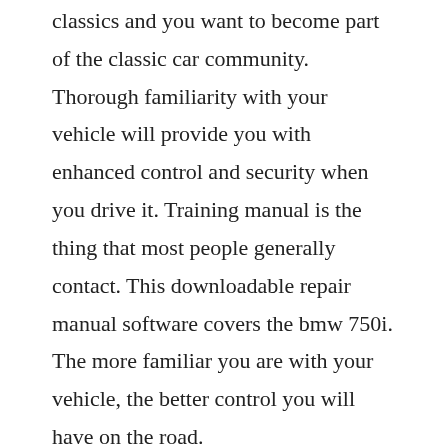classics and you want to become part of the classic car community. Thorough familiarity with your vehicle will provide you with enhanced control and security when you drive it. Training manual is the thing that most people generally contact. This downloadable repair manual software covers the bmw 750i. The more familiar you are with your vehicle, the better control you will have on the road.
Owner s manual for vehicle the ultimate driving machine. Repairpals professional community answers hundreds of questions and...